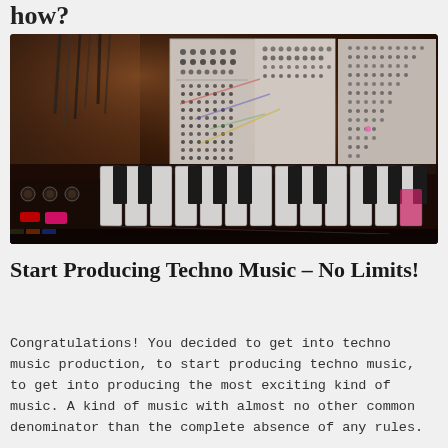how?
[Figure (photo): Music production studio with synthesizer keyboard in the foreground and modular synthesizer equipment in the background, warm sepia/amber toned photograph]
Start Producing Techno Music – No Limits!
Congratulations! You decided to get into techno music production, to start producing techno music, to get into producing the most exciting kind of music. A kind of music with almost no other common denominator than the complete absence of any rules.